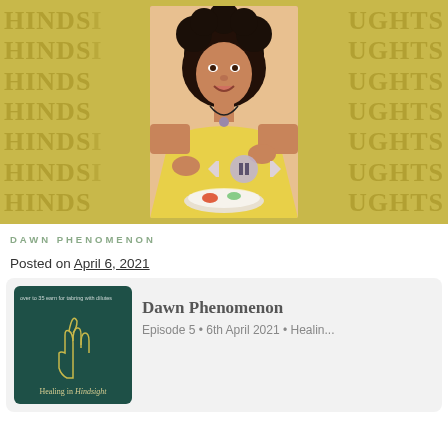[Figure (photo): Hero banner with olive/gold background showing repeated text 'HINDSIGHTS' and a woman in a yellow off-shoulder top sitting at a table with food, smiling, with media player controls overlaid]
DAWN PHENOMENON
Posted on April 6, 2021
[Figure (screenshot): Podcast episode card: thumbnail showing 'Healing in Hindsight' podcast artwork (dark green with hand illustration), episode title 'Dawn Phenomenon', meta 'Episode 5 • 6th April 2021 • Healin...']